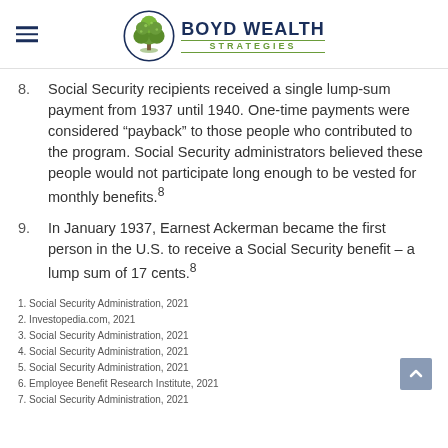Boyd Wealth Strategies
Social Security recipients received a single lump-sum payment from 1937 until 1940. One-time payments were considered “payback” to those people who contributed to the program. Social Security administrators believed these people would not participate long enough to be vested for monthly benefits.8
In January 1937, Earnest Ackerman became the first person in the U.S. to receive a Social Security benefit – a lump sum of 17 cents.8
1. Social Security Administration, 2021
2. Investopedia.com, 2021
3. Social Security Administration, 2021
4. Social Security Administration, 2021
5. Social Security Administration, 2021
6. Employee Benefit Research Institute, 2021
7. Social Security Administration, 2021